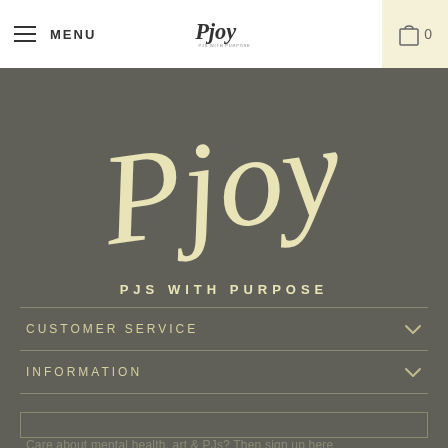MENU | Pjoy - PJS WITH PURPOSE | 0
[Figure (logo): Large Pjoy script logo in cream/yellow color on dark olive/grey background with 'PJS WITH PURPOSE' tagline below]
CUSTOMER SERVICE
INFORMATION
JOIN US
Care about mental health, art & PJs? Then sign up here